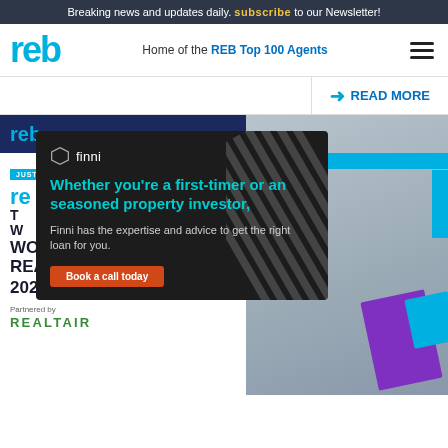Breaking news and updates daily. subscribe to our Newsletter!
[Figure (logo): REB logo in cyan/blue]
Home of the REB Top 100 Agents
READ MORE
[Figure (infographic): Finni advertisement overlay on REB Women in Real Estate 2022 background card. Finni ad: logo, headline 'Whether you're a first-timer or an seasoned property investor,', body 'Finni has the expertise and advice to get the right loan for you.', button 'Book a call today'. Background: REB Women in Real Estate 2022, Partnered by REALTAIR.]